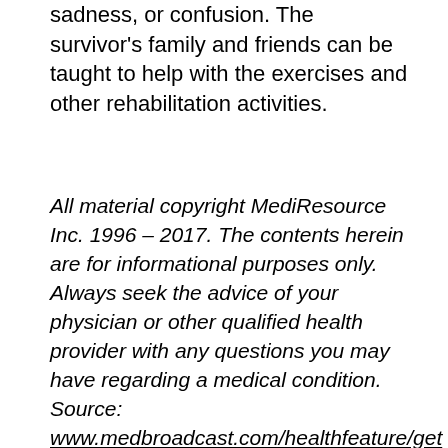sadness, or confusion. The survivor's family and friends can be taught to help with the exercises and other rehabilitation activities.
All material copyright MediResource Inc. 1996 – 2017. The contents herein are for informational purposes only. Always seek the advice of your physician or other qualified health provider with any questions you may have regarding a medical condition. Source: www.medbroadcast.com/healthfeature/gethealthfeature/Stroke